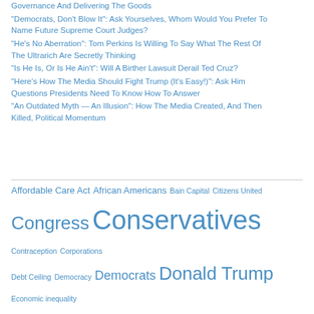Governance And Delivering The Goods
"Democrats, Don't Blow It": Ask Yourselves, Whom Would You Prefer To Name Future Supreme Court Judges?
"He's No Aberration": Tom Perkins Is Willing To Say What The Rest Of The Ultrarich Are Secretly Thinking
"Is He Is, Or Is He Ain't": Will A Birther Lawsuit Derail Ted Cruz?
"Here's How The Media Should Fight Trump (It's Easy!)": Ask Him Questions Presidents Need To Know How To Answer
"An Outdated Myth — An Illusion": How The Media Created, And Then Killed, Political Momentum
Affordable Care Act  African Americans  Bain Capital  Citizens United  Congress  Conservatives  Contraception  Corporations  Debt Ceiling  Democracy  Democrats  Donald Trump  Economic inequality  Economy  Foreign Policy  Fox News  George W. Bush  GOP  GOP Presidential Candidates  Government Shutdown  Gun